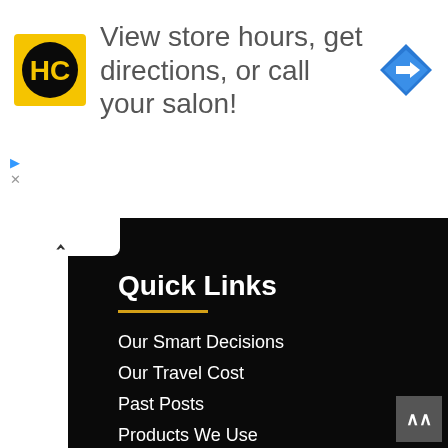[Figure (advertisement): HC salon logo (yellow square with HC letters in black circle), text 'View store hours, get directions, or call your salon!', and a blue diamond navigation icon on the right]
Our Smart Decisions
Our Travel Cost
Past Posts
Products We Use
Retirees, Baby Boomers & Seniors Concerns
Safaris
Security & Safety
Transportation
Travel Documents
Vacation Homes